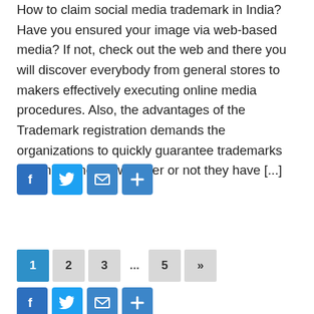How to claim social media trademark in India? Have you ensured your image via web-based media? If not, check out the web and there you will discover everybody from general stores to makers effectively executing online media procedures. Also, the advantages of the Trademark registration demands the organizations to quickly guarantee trademarks via online media, whether or not they have [...]
[Figure (other): Social share buttons: Facebook, Twitter, Email, Share (plus icon)]
CONTINUE READING »
Pagination: 1 (active), 2, 3, ..., 5, »
[Figure (other): Social share buttons row 2: Facebook, Twitter, Email, Share (plus icon)]